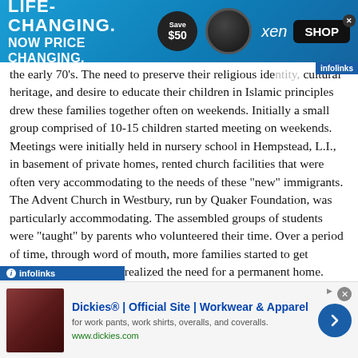[Figure (screenshot): Top advertisement banner: LIFE-CHANGING. NOW PRICE CHANGING. Save $50 xen SHOP]
the early 70's. The need to preserve their religious identity, cultural heritage, and desire to educate their children in Islamic principles drew these families together often on weekends. Initially a small group comprised of 10-15 children started meeting on weekends. Meetings were initially held in nursery school in Hempstead, L.I., in basement of private homes, rented church facilities that were often very accommodating to the needs of these "new" immigrants. The Advent Church in Westbury, run by Quaker Foundation, was particularly accommodating. The assembled groups of students were "taught" by parents who volunteered their time. Over a period of time, through word of mouth, more families started to get together and the group realized the need for a permanent home. Following are some key facets about the birth of the current ICL: The
[Figure (screenshot): Bottom advertisement: Dickies® | Official Site | Workwear & Apparel, for work pants, work shirts, overalls, and coveralls. www.dickies.com]